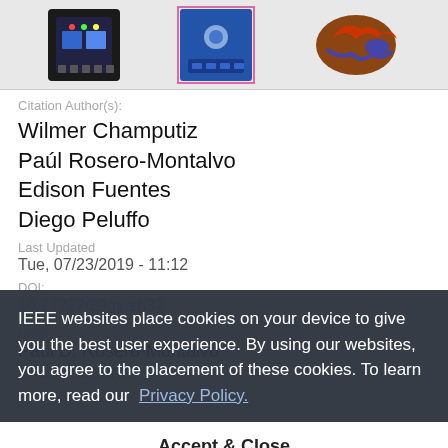[Figure (photo): Three electronic components: a black sensor module, a blue sensor module with pink outline box, and a robotic claw (brown/red) against white background]
Citation Author(s):
Wilmer Champutiz
Paúl Rosero-Montalvo
Edison Fuentes
Diego Peluffo
Last Updated
Tue, 07/23/2019 - 11:12
DOI:
10.21227/89qy-zh32
Links:
Paul D. Rosero-Montalvo
PAUL ROSERO
IEEE websites place cookies on your device to give you the best user experience. By using our websites, you agree to the placement of these cookies. To learn more, read our Privacy Policy.
Accept & Close